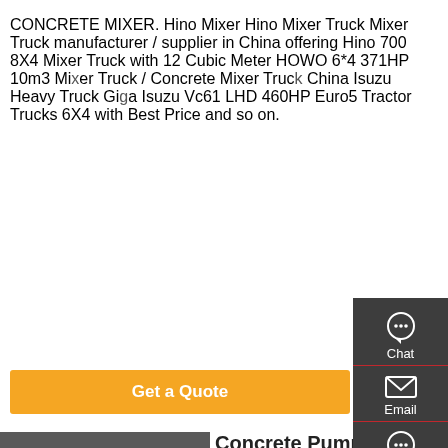CONCRETE MIXER. Hino Mixer Hino Mixer Truck Mixer Truck manufacturer / supplier in China offering Hino 700 8X4 Mixer Truck with 12 Cubic Meter HOWO 6*4 371HP 10m3 Mixer Truck / Concrete Mixer Truck China Isuzu Heavy Truck Giga Isuzu Vc61 LHD 460HP Euro5 Tractor Trucks 6X4 with Best Price and so on.
[Figure (other): Orange 'Get a Quote' button]
[Figure (other): Sidebar with Chat, Email, Contact, and Top navigation icons on dark background]
[Figure (photo): Photo of a concrete pump truck]
Concrete Pump Export Data Of